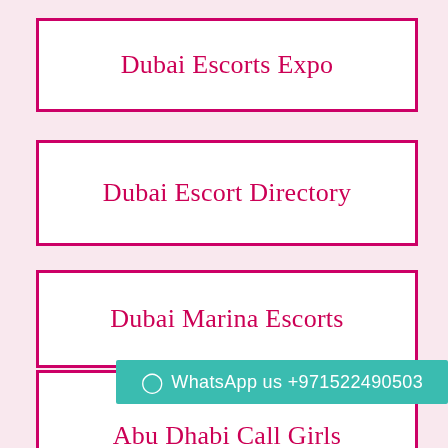Dubai Escorts Expo
Dubai Escort Directory
Dubai Marina Escorts
Sharjah Call Girls
WhatsApp us +971522490503
Abu Dhabi Call Girls